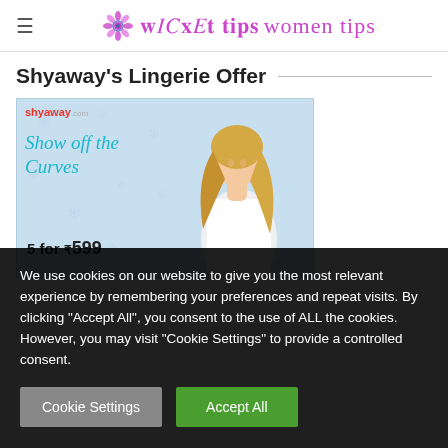≡  women tips
Shyaway's Lingerie Offer
[Figure (photo): Shyaway.com advertisement banner showing a blonde woman in a white tank top with text 'Show off the Curves' and '5 for ₹599' on a light blue snowflake patterned background]
We use cookies on our website to give you the most relevant experience by remembering your preferences and repeat visits. By clicking "Accept All", you consent to the use of ALL the cookies. However, you may visit "Cookie Settings" to provide a controlled consent.
Cookie Settings    Accept All